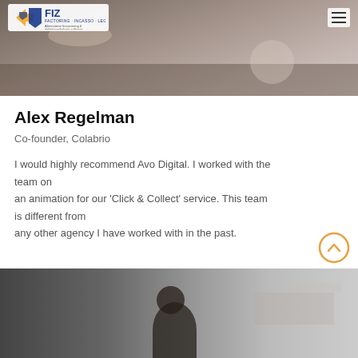[Figure (logo): FIZ logo with orange and blue arrow shapes, text 'FIZ FACTORING · INCASSO · LEGAL', subtitle 'Alternatieve financiering & debiteurenbeheer software']
[Figure (photo): Top hero image showing hands near a tablet and coffee cup on a desk]
Alex Regelman
Co-founder, Colabrio
I would highly recommend Avo Digital. I worked with the team on an animation for our ‘Click & Collect’ service. This team is different from any other agency I have worked with in the past.
[Figure (photo): Bottom photo partially visible showing a person and blurred background signage]
[Figure (other): Orange circular back-to-top button with upward chevron arrow]